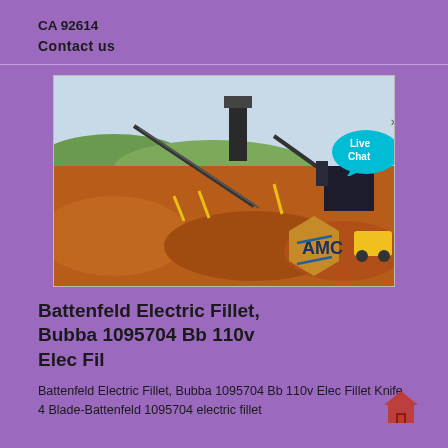CA 92614
Contact us
[Figure (photo): Mining or quarry site with conveyor belts, heavy machinery, and large piles of reddish-brown earth/ore. AMC logo visible at bottom right. Live Chat bubble overlay at top right.]
Battenfeld Electric Fillet, Bubba 1095704 Bb 110v Elec Fil
Battenfeld Electric Fillet, Bubba 1095704 Bb 110v Elec Fillet Knife 4 Blade-Battenfeld 1095704 electric fillet